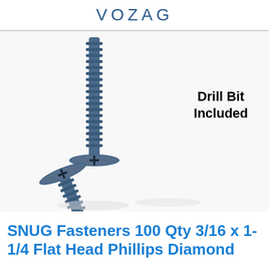VOZAG
[Figure (photo): Two blue coated flat head Phillips drywall screws on white background. One screw stands vertically showing its shaft and threads; another lies diagonally showing the flat countersunk head with Phillips cross drive and pointed tip. Text overlay reads 'Drill Bit Included'.]
SNUG Fasteners 100 Qty 3/16 x 1-1/4 Flat Head Phillips Diamond